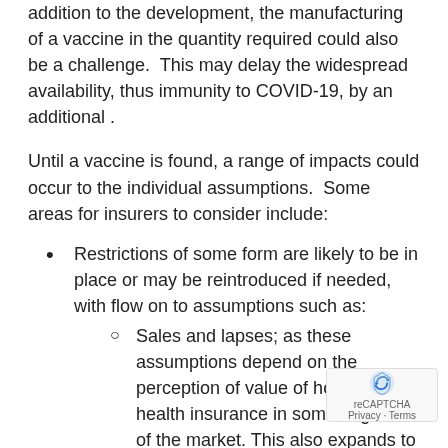addition to the development, the manufacturing of a vaccine in the quantity required could also be a challenge.  This may delay the widespread availability, thus immunity to COVID-19, by an additional .
Until a vaccine is found, a range of impacts could occur to the individual assumptions.  Some areas for insurers to consider include:
Restrictions of some form are likely to be in place or may be reintroduced if needed, with flow on to assumptions such as:
Sales and lapses; as these assumptions depend on the perception of value of holding health insurance in some segments of the market. This also expands to suspended members and their potential activation processing.
Investments; as a vaccine could result in